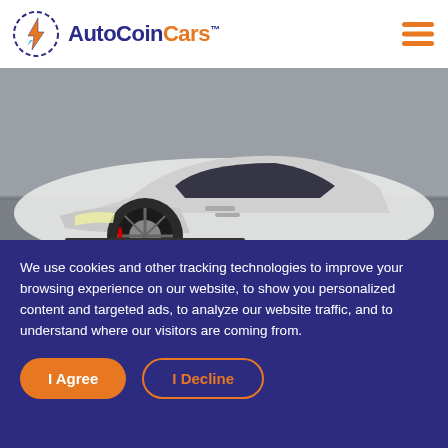AutoCoinCars™
[Figure (photo): White Lamborghini Aventador sports car front/side view on a road, close-up of front bumper and wheel]
BTC 17.144 | GBP 299,995
Lamborghini Aventador 6.5 V12 LP 750-4 Superveloce ISR 4WD Euro 6 2dr
2016   5,901 mi   AUTOMATIC
We use cookies and other tracking technologies to improve your browsing experience on our website, to show you personalized content and targeted ads, to analyze our website traffic, and to understand where our visitors are coming from.
I Agree   I Decline